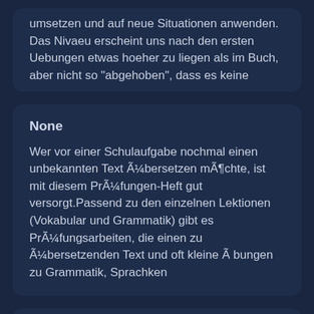umsetzen und auf neue Situationen anwenden. Das Nivaeu erscheint uns nach den ersten Uebungen etwas hoeher zu liegen als im Buch, aber nicht so "abgehoben", dass es keine
None
Wer vor einer Schulaufgabe nochmal einen unbekannten Text Ã¼bersetzen mÃ¶chte, ist mit diesem PrÃ¼fungen-Heft gut versorgt.Passend zu den einzelnen Lektionen (Vokabular und Grammatik) gibt es PrÃ¼fungsarbeiten, die einen zu Ã¼bersetzenden Text und oft kleine Ã bungen zu Grammatik, Sprachken
None